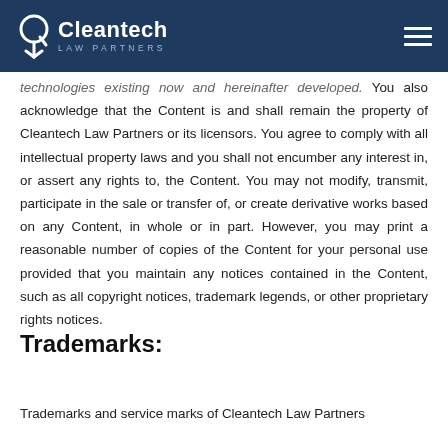Cleantech Law Partners
technologies existing now and hereinafter developed. You also acknowledge that the Content is and shall remain the property of Cleantech Law Partners or its licensors. You agree to comply with all intellectual property laws and you shall not encumber any interest in, or assert any rights to, the Content. You may not modify, transmit, participate in the sale or transfer of, or create derivative works based on any Content, in whole or in part. However, you may print a reasonable number of copies of the Content for your personal use provided that you maintain any notices contained in the Content, such as all copyright notices, trademark legends, or other proprietary rights notices.
Trademarks:
Trademarks and service marks of Cleantech Law Partners